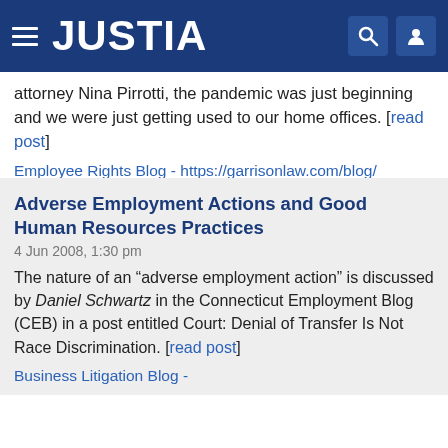JUSTIA
attorney Nina Pirrotti, the pandemic was just beginning and we were just getting used to our home offices. [read post]
Employee Rights Blog - https://garrisonlaw.com/blog/
Adverse Employment Actions and Good Human Resources Practices
4 Jun 2008, 1:30 pm
The nature of an &ldquo;adverse employment action&rdquo; is discussed by Daniel Schwartz in the Connecticut Employment Blog (CEB) in a post entitled Court: Denial of Transfer Is Not Race Discrimination. [read post]
Business Litigation Blog -